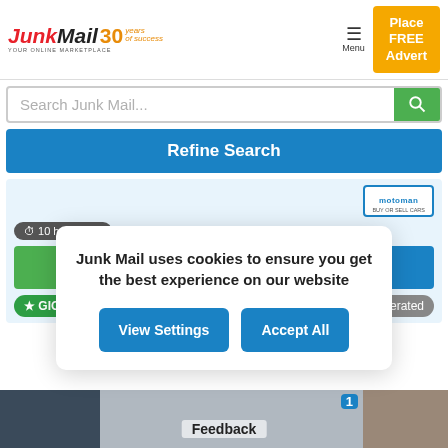JunkMail 30 years of success — YOUR ONLINE MARKETPLACE
Search Junk Mail...
Refine Search
10 hours ago
Contact
GIG Motors
Moderated
Junk Mail uses cookies to ensure you get the best experience on our website
View Settings
Accept All
Feedback